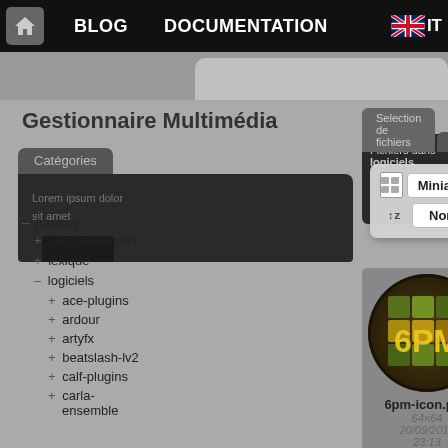BLOG   DOCUMENTATION   EN IT
Gestionnaire Multimédia
Catégories
Selection de fichiers   Envoyer   Reche
Fichiers dans logiciels
Miniatures   Lignes
Nom   Date
- [racine]
+ comprehension
+ lexique
- logiciels
+ ace-plugins
+ ardour
+ artyfx
+ beatslash-lv2
+ calf-plugins
+ carla-ensemble
[Figure (photo): 6PM icon - circular icon with mosaic pattern and gold 6PM text]
6pm-icon.png
64×64
20/09/2019 23:13
[Figure (photo): 6pm-prez.png - grey thumbnail placeholder]
6pm-prez.png
1066×812
24/12/2019 14:10